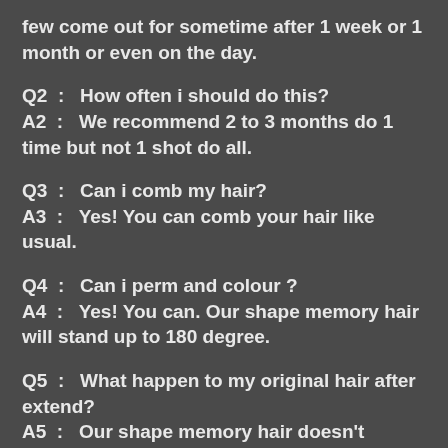few come out for sometime after 1 week or 1 month or even on the day.
Q2 : How often i should do this?
A2 : We recommend 2 to 3 months do 1 time but not 1 shot do all.
Q3 : Can i comb my hair?
A3 : Yes! You can comb your hair like usual.
Q4 : Can i perm and colour ?
A4 : Yes! You can. Our shape memory hair will stand up to 180 degree.
Q5 : What happen to my original hair after extend?
A5 : Our shape memory hair doesn't absorb water. So